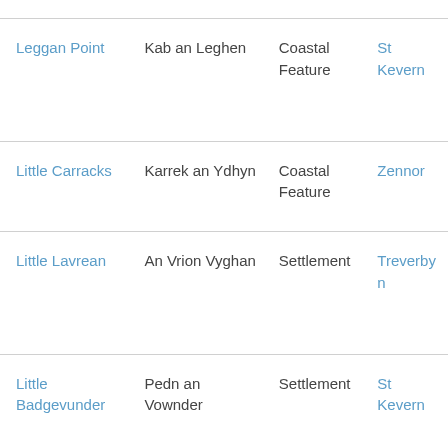| English Name | Cornish Name | Feature Type | Parish |
| --- | --- | --- | --- |
| Leggan Point | Kab an Leghen | Coastal Feature | St Keverne |
| Little Carracks | Karrek an Ydhyn | Coastal Feature | Zennor |
| Little Lavrean | An Vrion Vyghan | Settlement | Treverbyn |
| Little Badgevunder | Pedn an Vownder | Settlement | St Keverne |